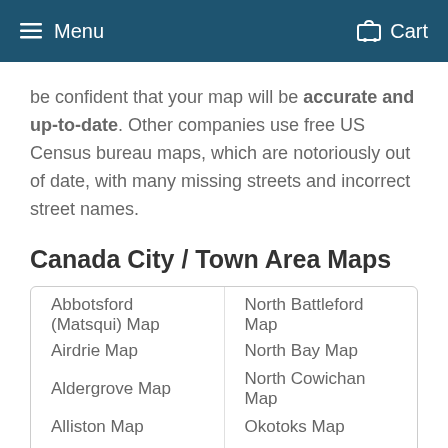Menu  Cart
be confident that your map will be accurate and up-to-date. Other companies use free US Census bureau maps, which are notoriously out of date, with many missing streets and incorrect street names.
Canada City / Town Area Maps
Abbotsford (Matsqui) Map
North Battleford Map
Airdrie Map
North Bay Map
Aldergrove Map
North Cowichan Map
Alliston Map
Okotoks Map
Alma Map
Orangeville Map
Amherstburg Map
Orillia Map
Amos Map